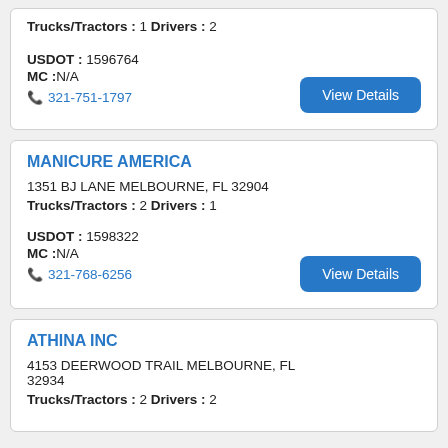Trucks/Tractors : 1 Drivers : 2
USDOT : 1596764
MC :N/A
321-751-1797
MANICURE AMERICA
1351 BJ LANE MELBOURNE, FL 32904
Trucks/Tractors : 2 Drivers : 1
USDOT : 1598322
MC :N/A
321-768-6256
ATHINA INC
4153 DEERWOOD TRAIL MELBOURNE, FL 32934
Trucks/Tractors : 2 Drivers : 2